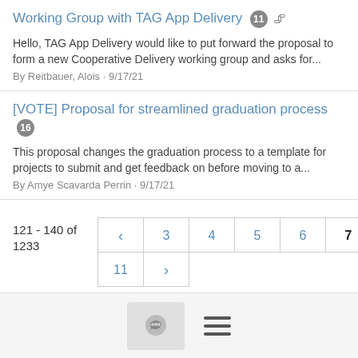Working Group with TAG App Delivery 11 📎
Hello, TAG App Delivery would like to put forward the proposal to form a new Cooperative Delivery working group and asks for...
By Reitbauer, Alois · 9/17/21
[VOTE] Proposal for streamlined graduation process 16
This proposal changes the graduation process to a template for projects to submit and get feedback on before moving to a...
By Amye Scavarda Perrin · 9/17/21
121 - 140 of 1233
[Figure (other): Pagination control with page numbers: back arrow, 3, 4, 5, 6, 7 (bold/active), 8, 9, 10, 11, forward arrow]
[Figure (other): Footer bar with chat bubble icon button and hamburger menu icon]